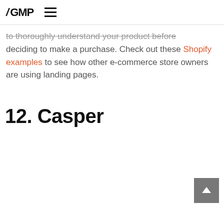/ GMP ≡
to thoroughly understand your product before deciding to make a purchase. Check out these Shopify examples to see how other e-commerce store owners are using landing pages.
12. Casper